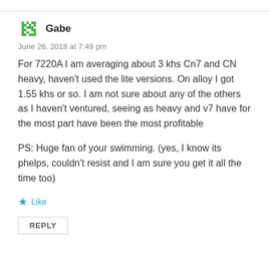Gabe
June 26, 2018 at 7:49 pm
For 7220A I am averaging about 3 khs Cn7 and CN heavy, haven't used the lite versions. On alloy I got 1.55 khs or so. I am not sure about any of the others as I haven't ventured, seeing as heavy and v7 have for the most part have been the most profitable
PS: Huge fan of your swimming. (yes, I know its phelps, couldn't resist and I am sure you get it all the time too)
Like
REPLY